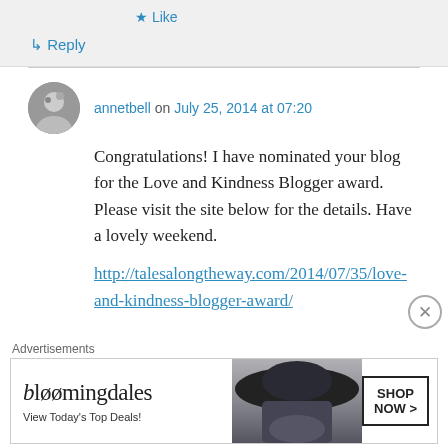★ Like
↳ Reply
annetbell on July 25, 2014 at 07:20
Congratulations! I have nominated your blog for the Love and Kindness Blogger award. Please visit the site below for the details. Have a lovely weekend.
http://talesalongtheway.com/2014/07/35/love-and-kindness-blogger-award/
[Figure (screenshot): Bloomingdales advertisement banner: bloomingdales logo, 'View Today's Top Deals!', woman with hat, 'SHOP NOW >' button]
Advertisements